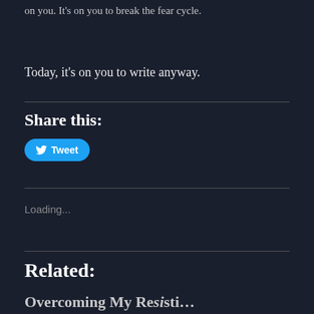on you. It's on you to break the fear cycle.
Today, it's on you to write anyway.
Share this:
[Figure (other): Tweet button with Twitter bird icon]
Loading...
Related:
Overcoming My Resistance...